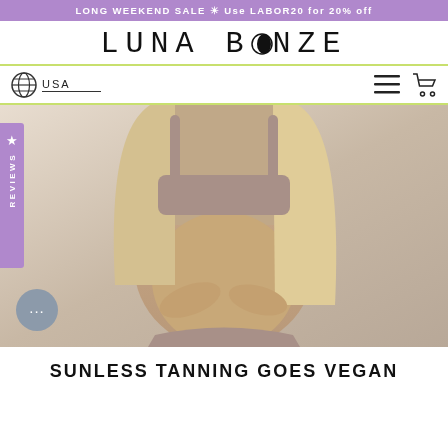LONG WEEKEND SALE ☀ Use LABOR20 for 20% off
LUNA BRONZE
USA
[Figure (photo): Pregnant woman wearing a beige/mauve sports bra and bikini bottom, cradling her baby bump with both hands, long blonde hair, lightly tanned skin, photographed from shoulders to upper thighs against a light background]
SUNLESS TANNING GOES VEGAN